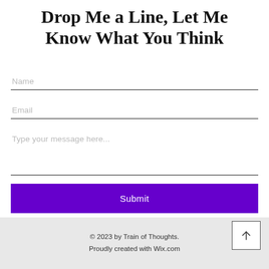Drop Me a Line, Let Me Know What You Think
Name
Email
Type your message here...
Submit
© 2023 by Train of Thoughts. Proudly created with Wix.com